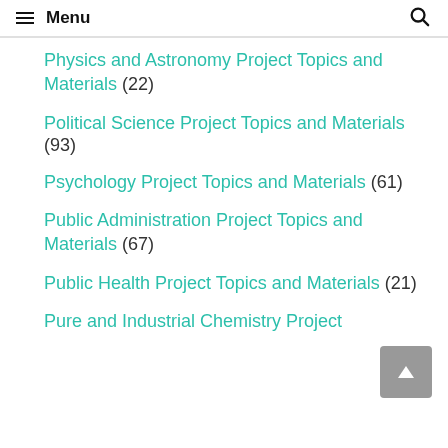Menu
Physics and Astronomy Project Topics and Materials (22)
Political Science Project Topics and Materials (93)
Psychology Project Topics and Materials (61)
Public Administration Project Topics and Materials (67)
Public Health Project Topics and Materials (21)
Pure and Industrial Chemistry Project